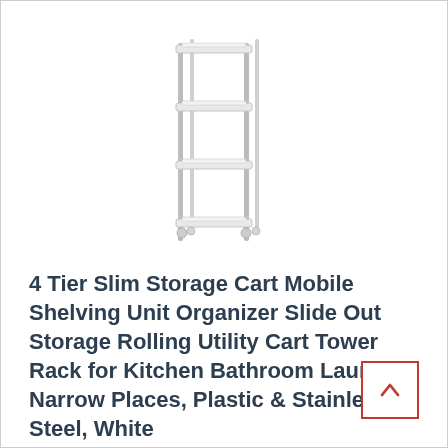[Figure (illustration): A 4-tier slim rolling storage cart with metal poles and white plastic shelves, shown on small caster wheels, oriented vertically.]
4 Tier Slim Storage Cart Mobile Shelving Unit Organizer Slide Out Storage Rolling Utility Cart Tower Rack for Kitchen Bathroom Laundry Narrow Places, Plastic & Stainless Steel, White